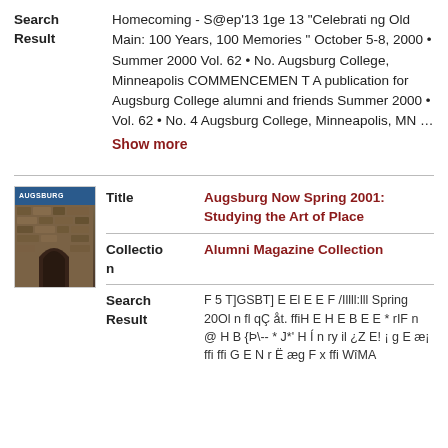Search Result: Homecoming - S@ep'13 1ge 13 "Celebrating Old Main: 100 Years, 100 Memories " October 5-8, 2000 • Summer 2000 Vol. 62 • No. Augsburg College, Minneapolis COMMENCEMENT A publication for Augsburg College alumni and friends Summer 2000 • Vol. 62 • No. 4 Augsburg College, Minneapolis, MN ...
Show more
[Figure (photo): Thumbnail image of Augsburg Now Spring 2001 magazine cover showing stone archway building]
Title: Augsburg Now Spring 2001: Studying the Art of Place
Collection: Alumni Magazine Collection
Search Result: F 5 T]GSBT] E El E E F /Illll:lll Spring 20Ol n fl qÇ åt. ffiH E H E B E E * rIF n @ H B {Þ\-- * J*' H Í n ry il ¿Z E! ¡ g E æ¡ ffi ffi G E N r Ë æg F x ffi WîMA